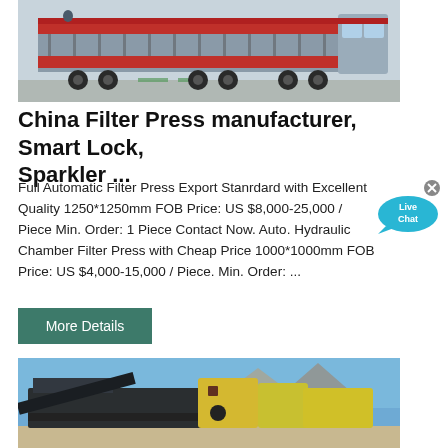[Figure (photo): Industrial truck/flatbed trailer loaded with heavy equipment in a warehouse or factory setting.]
China Filter Press manufacturer, Smart Lock, Sparkler ...
Full Automatic Filter Press Export Stanrdard with Excellent Quality 1250*1250mm FOB Price: US $8,000-25,000 / Piece Min. Order: 1 Piece Contact Now. Auto. Hydraulic Chamber Filter Press with Cheap Price 1000*1000mm FOB Price: US $4,000-15,000 / Piece. Min. Order: ...
[Figure (other): Live Chat bubble icon with text 'Live Chat' in cyan/blue speech bubble with X close button.]
More Details
[Figure (photo): Heavy industrial crushing/mining machinery outdoors against a blue sky background, yellow and dark grey equipment.]